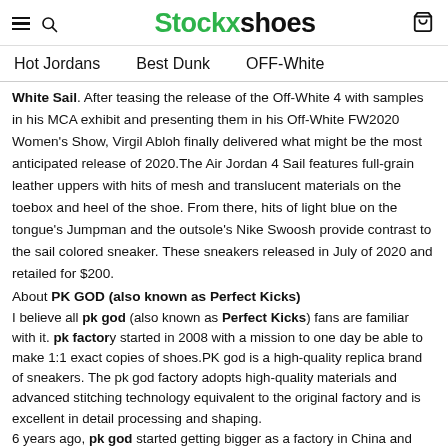Stockxshoes
Hot Jordans   Best Dunk   OFF-White
White Sail. After teasing the release of the Off-White 4 with samples in his MCA exhibit and presenting them in his Off-White FW2020 Women's Show, Virgil Abloh finally delivered what might be the most anticipated release of 2020.The Air Jordan 4 Sail features full-grain leather uppers with hits of mesh and translucent materials on the toebox and heel of the shoe. From there, hits of light blue on the tongue's Jumpman and the outsole's Nike Swoosh provide contrast to the sail colored sneaker. These sneakers released in July of 2020 and retailed for $200.
About PK GOD (also known as Perfect Kicks)
I believe all pk god (also known as Perfect Kicks) fans are familiar with it. pk factory started in 2008 with a mission to one day be able to make 1:1 exact copies of shoes.PK god is a high-quality replica brand of sneakers. The pk god factory adopts high-quality materials and advanced stitching technology equivalent to the original factory and is excellent in detail processing and shaping.
6 years ago, pk god started getting bigger as a factory in China and started to expand to produce more quantity while remaining the quality.
Perfect Kicks has been a fan-recommended...